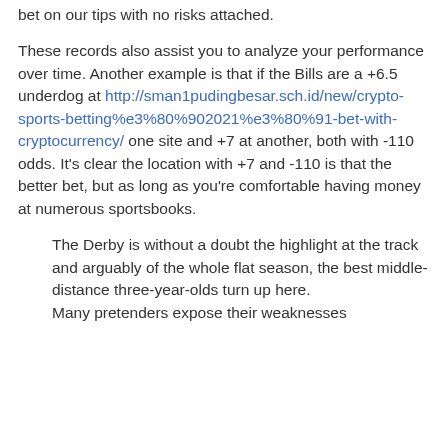bet on our tips with no risks attached.
These records also assist you to analyze your performance over time. Another example is that if the Bills are a +6.5 underdog at http://sman1pudingbesar.sch.id/new/crypto-sports-betting%e3%80%902021%e3%80%91-bet-with-cryptocurrency/ one site and +7 at another, both with -110 odds. It’s clear the location with +7 and -110 is that the better bet, but as long as you’re comfortable having money at numerous sportsbooks.
The Derby is without a doubt the highlight at the track and arguably of the whole flat season, the best middle-distance three-year-olds turn up here.
Many pretenders expose their weaknesses